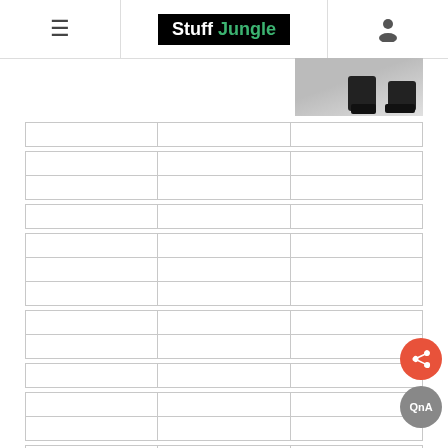Stuff Jungle
[Figure (photo): Partial photo showing boots/feet on a light background, top right of page]
|  |  |  |
|  |  |  |
|  |  |  |
|  |  |  |
|  |  |  |
|  |  |  |
|  |  |  |
|  |  |  |
|  |  |  |
|  |  |  |
|  |  |  |
|  |  |  |
|  |  |  |
|  |  |  |
|  |  |  |
|  |  |  |
|  |  |  |
|  |  |  |
|  |  |  |
|  |  |  |